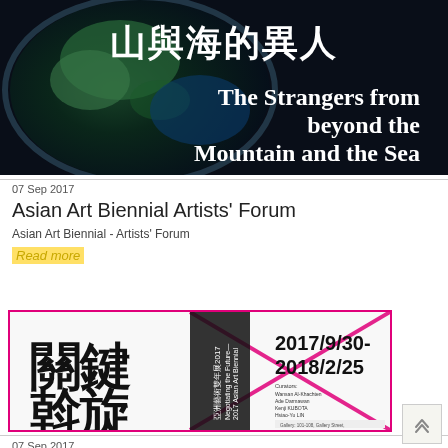[Figure (photo): Dark banner image showing Earth from space with Chinese text '山與海的異人' and English text 'The Strangers from beyond the Mountain and the Sea']
07 Sep 2017
Asian Art Biennial Artists' Forum
Asian Art Biennial - Artists' Forum
Read more
[Figure (photo): Poster for 2017 Asian Art Biennial '關鍵斡旋 Negotiating the Future' with dates 2017/9/30-2018/2/25, pink border with X cross design]
07 Sep 2017
Asian Art Biennial Curators' Forum
Asian Art Biennial - Curators' Forum